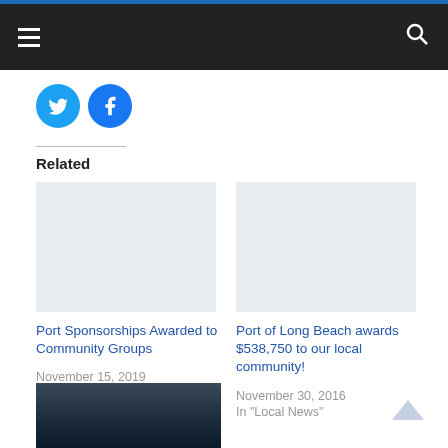Navigation bar with hamburger menu and search icon
[Figure (illustration): Twitter bird icon (cyan circle) and Facebook f icon (blue circle) social sharing buttons]
Related
Port Sponsorships Awarded to Community Groups
November 15, 2019
In "Charity"
Port of Long Beach awards $538,750 to our local community!
November 30, 2016
In "Local News"
[Figure (photo): Partial thumbnail photo at bottom showing port/industrial scene at night]